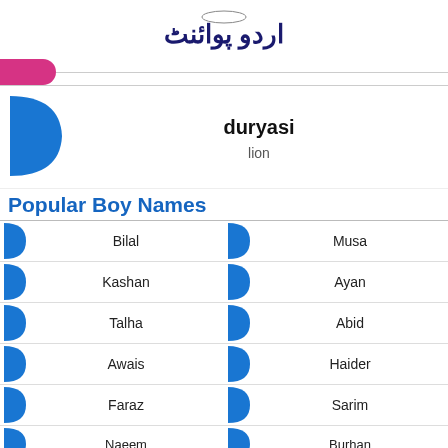اردو پوائنٹ (Urdu Point logo)
duryasi
lion
Popular Boy Names
Bilal
Musa
Kashan
Ayan
Talha
Abid
Awais
Haider
Faraz
Sarim
Naeem
Burhan